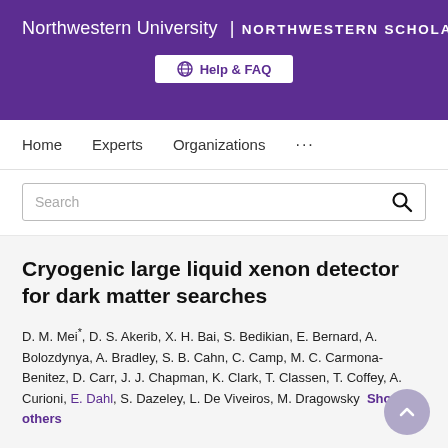Northwestern University | NORTHWESTERN SCHOLARS
Help & FAQ
Home   Experts   Organizations   ...
Search
Cryogenic large liquid xenon detector for dark matter searches
D. M. Mei*, D. S. Akerib, X. H. Bai, S. Bedikian, E. Bernard, A. Bolozdynya, A. Bradley, S. B. Cahn, C. Camp, M. C. Carmona-Benitez, D. Carr, J. J. Chapman, K. Clark, T. Classen, T. Coffey, A. Curioni, E. Dahl, S. Dazeley, L. De Viveiros, M. Dragowsky Show 47 others